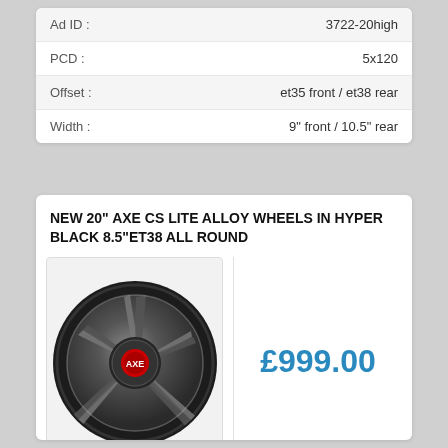| Field | Value |
| --- | --- |
| Ad ID : | 3722-20high |
| PCD : | 5x120 |
| Offset : | et35 front / et38 rear |
| Width : | 9" front / 10.5" rear |
NEW 20" AXE CS LITE ALLOY WHEELS IN HYPER BLACK 8.5"ET38 ALL ROUND
[Figure (photo): A black multi-spoke alloy wheel (AXE CS Lite) in hyper black finish with machined face details and a red center cap.]
£999.00